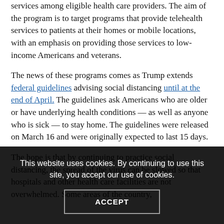services among eligible health care providers. The aim of the program is to target programs that provide telehealth services to patients at their homes or mobile locations, with an emphasis on providing those services to low-income Americans and veterans.
The news of these programs comes as Trump extends federal guidelines advising social distancing until at the end of April. The guidelines ask Americans who are older or have underlying health conditions — as well as anyone who is sick — to stay home. The guidelines were released on March 16 and were originally expected to last 15 days.
The hope is that by continuing to practice social distancing, the spread of the virus can be slowed so that hospitals and other health care facilities are not overwhelmed. Some areas of the country, such as New York City, are already experiencing...
This website uses cookies. By continuing to use this site, you accept our use of cookies.
ACCEPT
Details of C... Telehealth P...